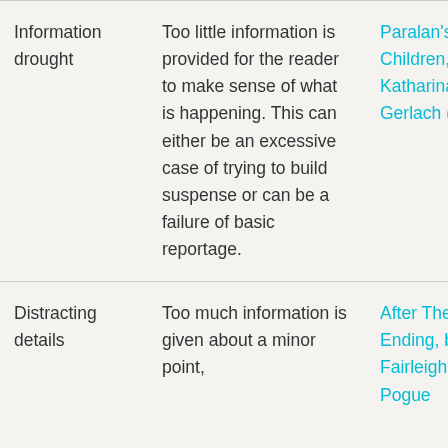| Information drought | Too little information is provided for the reader to make sense of what is happening. This can either be an excessive case of trying to build suspense or can be a failure of basic reportage. | Paralan's Children, by Katharina Gerlach (24:34) |
| Distracting details | Too much information is given about a minor point, | After The Ending, by Fairleigh and Pogue |